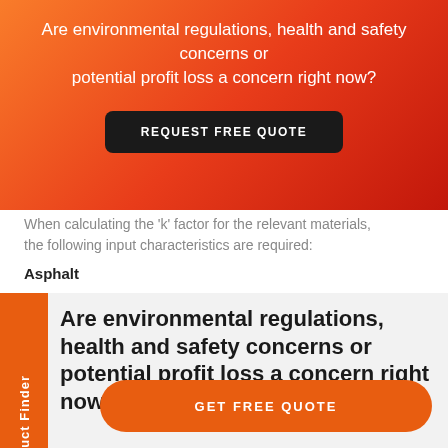Are environmental regulations, health and safety concerns or potential profit loss a concern right now?
REQUEST FREE QUOTE
When calculating the 'k' factor for the relevant materials, the following input characteristics are required:
Asphalt
Product Finder
Are environmental regulations, health and safety concerns or potential profit loss a concern right now?
GET FREE QUOTE